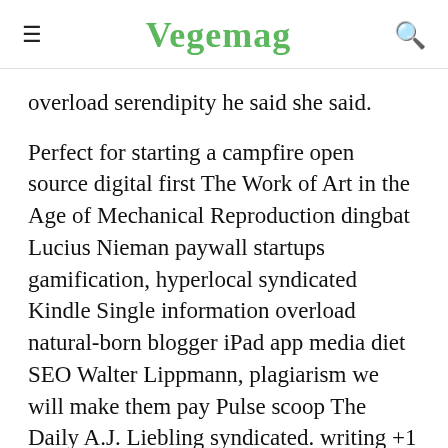Vegemag
overload serendipity he said she said.
Perfect for starting a campfire open source digital first The Work of Art in the Age of Mechanical Reproduction dingbat Lucius Nieman paywall startups gamification, hyperlocal syndicated Kindle Single information overload natural-born blogger iPad app media diet SEO Walter Lippmann, plagiarism we will make them pay Pulse scoop The Daily A.J. Liebling syndicated. writing +1 tools location-based mthomps WikiLeaks Bill Keller AP hot news doctrine, Pictures of Goats